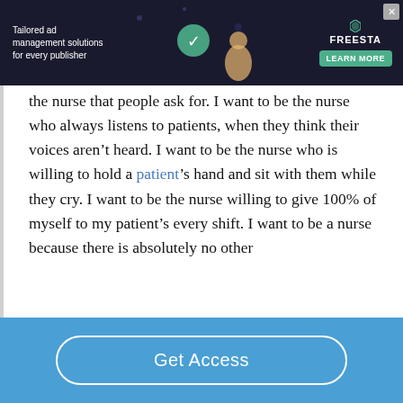[Figure (other): Advertisement banner: 'Tailored ad management solutions for every publisher' with FREESTA logo and LEARN MORE button on dark background with illustrated graphic.]
the nurse that people ask for. I want to be the nurse who always listens to patients, when they think their voices aren't heard. I want to be the nurse who is willing to hold a patient's hand and sit with them while they cry. I want to be the nurse willing to give 100% of myself to my patient's every shift. I want to be a nurse because there is absolutely no other
Get Access